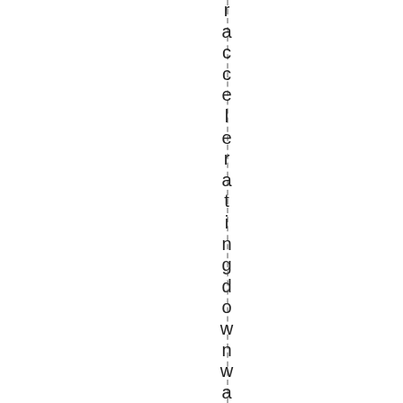accelerating downward momentum...